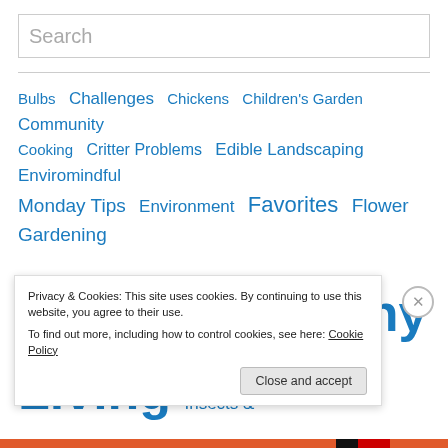Search
Bulbs  Challenges  Chickens  Children's Garden  Community  Cooking  Critter Problems  Edible Landscaping  Enviromindful Monday Tips  Environment  Favorites  Flower Gardening  Healthy Eating  Healthy Living  Insects & Diseases  Landscaping  Laughing at Life  Meditation  Mindful Living  Organic
Privacy & Cookies: This site uses cookies. By continuing to use this website, you agree to their use.
To find out more, including how to control cookies, see here: Cookie Policy
Close and accept